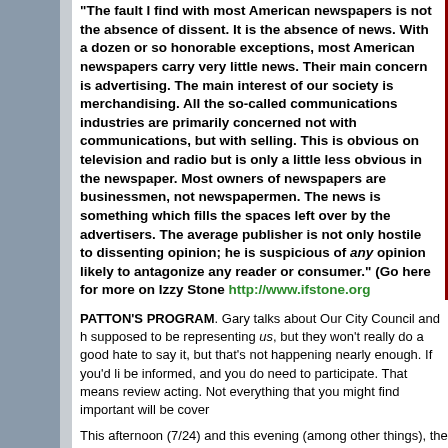“The fault I find with most American newspapers is not the absence of dissent. It is the absence of news. With a dozen or so honorable exceptions, most American newspapers carry very little news. Their main concern is advertising. The main interest of our society is merchandising. All the so-called communications industries are primarily concerned not with communications, but with selling. This is obvious on television and radio but is only a little less obvious in the newspaper. Most owners of newspapers are businessmen, not newspapermen. The news is something which fills the spaces left over by the advertisers. The average publisher is not only hostile to dissenting opinion; he is suspicious of any opinion likely to antagonize any reader or consumer.” (Go here for more on Izzy Stone http://www.ifstone.org
PATTON’S PROGRAM. Gary talks about Our City Council and how they are supposed to be representing us, but they won’t really do a good job unless you—I hate to say it, but that’s not happening nearly enough. If you’d like to help, you need to be informed, and you do need to participate. That means reviewing what they’re doing and acting. Not everything that you might find important will be covered.
This afternoon (7/24) and this evening (among other things), the
An initiative petition to enact a Charter Amendment to gu…
Approval of a rather dense, 19-unit multi-family condomin… the corner of Walnut and Center.
A direction to staff to provide the Council with options on